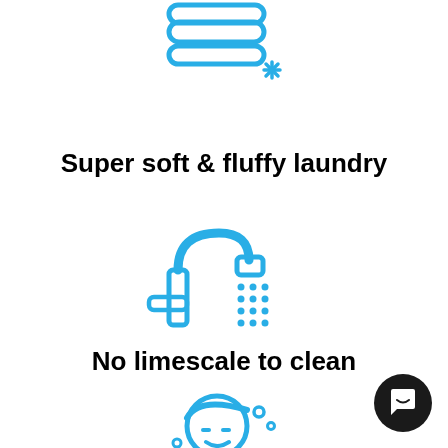[Figure (illustration): Blue line-art icon of folded towels/laundry stack with a sparkle star symbol, indicating softness]
Super soft & fluffy laundry
[Figure (illustration): Blue line-art icon of a water faucet/tap with water droplet dots indicating shower or tap water]
No limescale to clean
[Figure (illustration): Blue line-art icon of a person's face with towel on head and bubbles, indicating skin care]